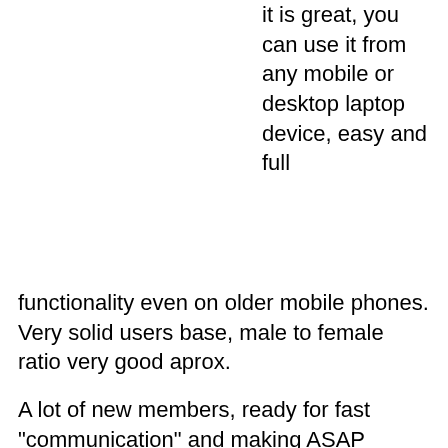it is great, you can use it from any mobile or desktop laptop device, easy and full
functionality even on older mobile phones. Very solid users base, male to female ratio very good aprox.
A lot of new members, ready for fast "communication" and making ASAP "connections", highly recommended :. Seek Hookups.